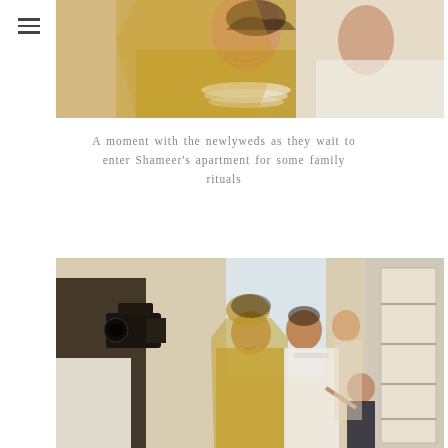[Figure (photo): Close-up photo of newlyweds at top of page. Bride in gold embroidered outfit with pearl necklace, groom in white sherwani, both smiling.]
A moment with the newlyweds as they wait to enter Shameer’s apartment for some family rituals
[Figure (photo): Photo of newlyweds entering an apartment. A videographer films from the left, the bride in gold dupatta and groom in white sherwani are greeted by a small child. Another woman stands in the background.]